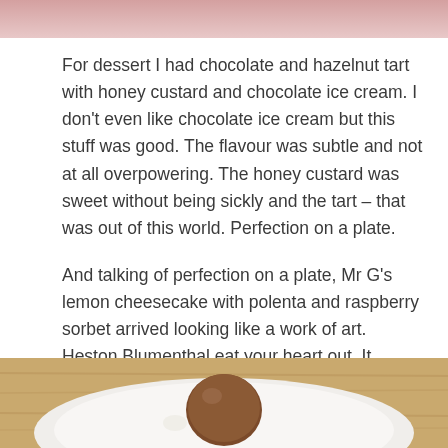[Figure (photo): Top portion of a food photo visible at top of page, pinkish background]
For dessert I had chocolate and hazelnut tart with honey custard and chocolate ice cream. I don't even like chocolate ice cream but this stuff was good. The flavour was subtle and not at all overpowering. The honey custard was sweet without being sickly and the tart – that was out of this world. Perfection on a plate.
And talking of perfection on a plate, Mr G's lemon cheesecake with polenta and raspberry sorbet arrived looking like a work of art. Heston Blumenthal eat your heart out. It looked too good to eat and tasted as good as it looked.
[Figure (photo): Bottom portion of a food photo showing a chocolate dessert on a white plate on a wooden table]